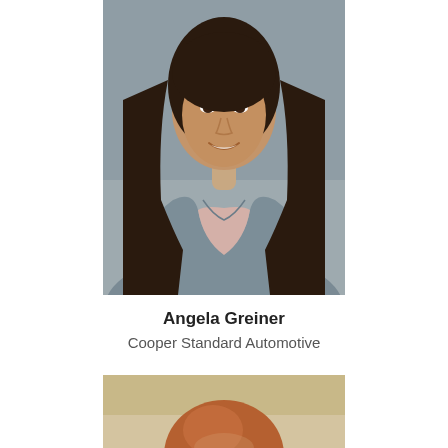[Figure (photo): Professional headshot of Angela Greiner, a woman with long dark hair wearing a gray blazer and light pink top, smiling, against a gray background.]
Angela Greiner
Cooper Standard Automotive
[Figure (photo): Partial professional headshot of a second person with reddish-blonde hair, partially visible at the bottom of the page.]